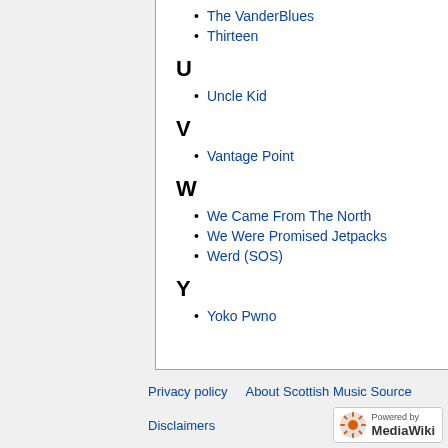The VanderBlues
Thirteen
U
Uncle Kid
V
Vantage Point
W
We Came From The North
We Were Promised Jetpacks
Werd (SOS)
Y
Yoko Pwno
Privacy policy   About Scottish Music Source   Disclaimers   Powered by MediaWiki